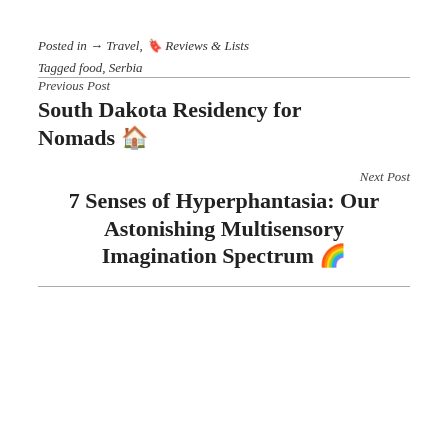Posted in → Travel, 🔖 Reviews & Lists
Tagged food, Serbia
Previous Post
South Dakota Residency for Nomads 🏠
Next Post
7 Senses of Hyperphantasia: Our Astonishing Multisensory Imagination Spectrum 🌈